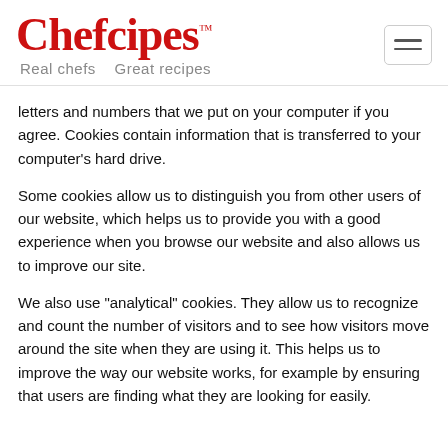Chefcipes™ — Real chefs   Great recipes
letters and numbers that we put on your computer if you agree. Cookies contain information that is transferred to your computer's hard drive.
Some cookies allow us to distinguish you from other users of our website, which helps us to provide you with a good experience when you browse our website and also allows us to improve our site.
We also use "analytical" cookies. They allow us to recognize and count the number of visitors and to see how visitors move around the site when they are using it. This helps us to improve the way our website works, for example by ensuring that users are finding what they are looking for easily.